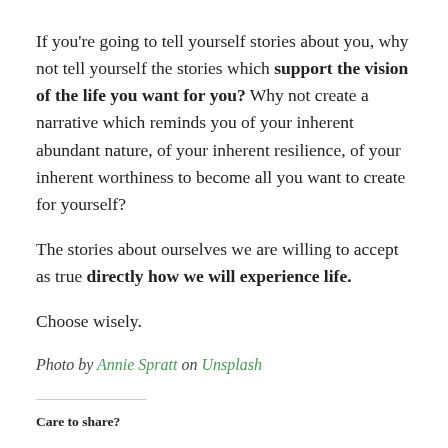If you're going to tell yourself stories about you, why not tell yourself the stories which support the vision of the life you want for you? Why not create a narrative which reminds you of your inherent abundant nature, of your inherent resilience, of your inherent worthiness to become all you want to create for yourself?
The stories about ourselves we are willing to accept as true directly how we will experience life.
Choose wisely.
Photo by Annie Spratt on Unsplash
Care to share?